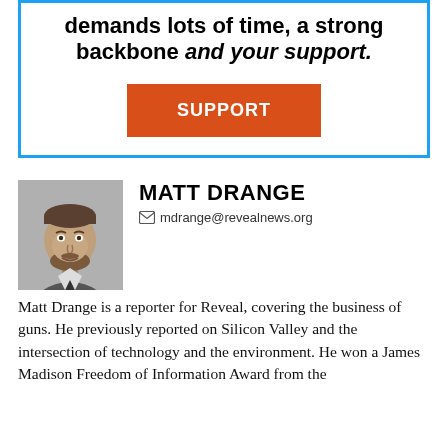demands lots of time, a strong backbone and your support.
SUPPORT
MATT DRANGE
mdrange@revealnews.org
[Figure (photo): Black and white headshot of Matt Drange, a man with a beard wearing a collared shirt and tie]
Matt Drange is a reporter for Reveal, covering the business of guns. He previously reported on Silicon Valley and the intersection of technology and the environment. He won a James Madison Freedom of Information Award from the